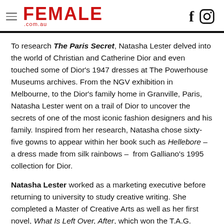FEMALE .com.au
To research The Paris Secret, Natasha Lester delved into the world of Christian and Catherine Dior and even touched some of Dior's 1947 dresses at The Powerhouse Museums archives. From the NGV exhibition in Melbourne, to the Dior's family home in Granville, Paris, Natasha Lester went on a trail of Dior to uncover the secrets of one of the most iconic fashion designers and his family. Inspired from her research, Natasha chose sixty-five gowns to appear within her book such as Hellebore – a dress made from silk rainbows – from Galliano's 1995 collection for Dior.
Natasha Lester worked as a marketing executive before returning to university to study creative writing. She completed a Master of Creative Arts as well as her first novel, What Is Left Over, After, which won the T.A.G. Hungerford